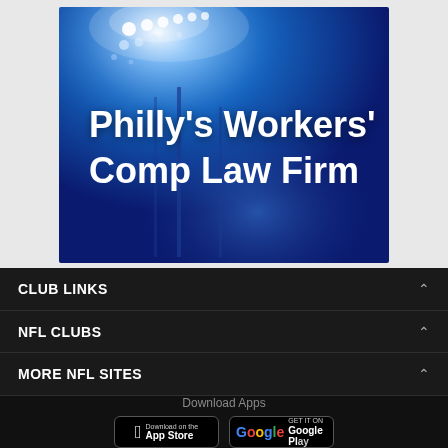[Figure (illustration): Advertisement banner with blue stadium lights background showing text 'Philly's Workers' Comp Law Firm' in large white bold font]
CLUB LINKS
NFL CLUBS
MORE NFL SITES
Download Apps
[Figure (screenshot): App Store download button]
[Figure (screenshot): Google Play download button]